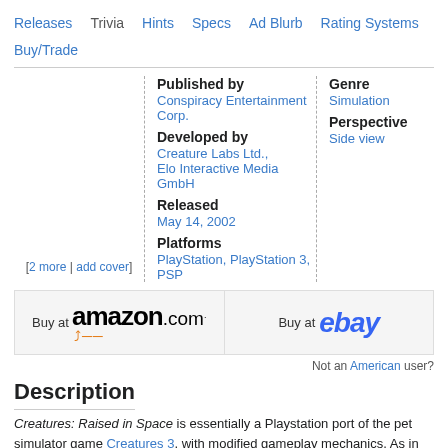Releases | Trivia | Hints | Specs | Ad Blurb | Rating Systems | Buy/Trade
[2 more | add cover]
Published by
Conspiracy Entertainment Corp.
Developed by
Creature Labs Ltd., Elo Interactive Media GmbH
Released
May 14, 2002
Platforms
PlayStation, PlayStation 3, PSP
Genre
Simulation
Perspective
Side view
[Figure (logo): Buy at amazon.com logo with orange arrow]
[Figure (logo): Buy at ebay logo in blue italic]
Not an American user?
Description
Creatures: Raised in Space is essentially a Playstation port of the pet simulator game Creatures 3, with modified gameplay mechanics. As in the previous titles, the player controls a fairy named Scrubby, who acts through the cursor issuing orders to the Norns when used over interactive portions of